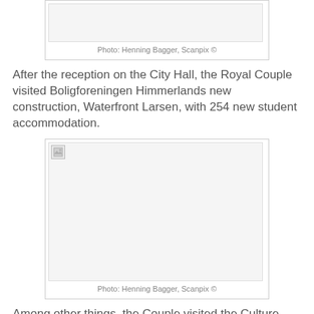[Figure (photo): Photo placeholder at top of page, broken image icon visible]
Photo: Henning Bagger, Scanpix ©
After the reception on the City Hall, the Royal Couple visited Boligforeningen Himmerlands new construction, Waterfront Larsen, with 254 new student accommodation.
[Figure (photo): Photo placeholder, broken image icon visible, larger image area]
Photo: Henning Bagger, Scanpix ©
Among other things, the Couple visited the Culture Nordkraft